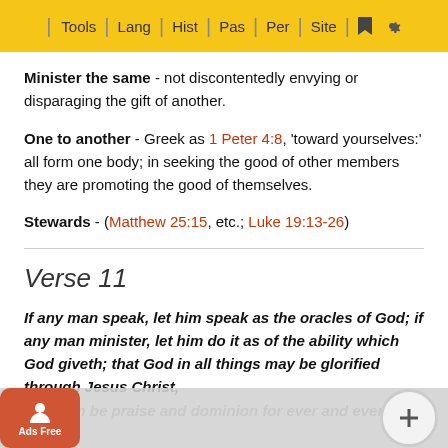Tools | Lang | Hist | Pas | Per | Site
Minister the same - not discontentedly envying or disparaging the gift of another.
One to another - Greek as 1 Peter 4:8, 'toward yourselves:' all form one body; in seeking the good of other members they are promoting the good of themselves.
Stewards - (Matthew 25:15, etc.; Luke 19:13-26)
Verse 11
If any man speak, let him speak as the oracles of God; if any man minister, let him do it as of the ability which God giveth; that God in all things may be glorified through Jesus Christ, to whom be praise and dominion for ever and ever. Amen.
If any